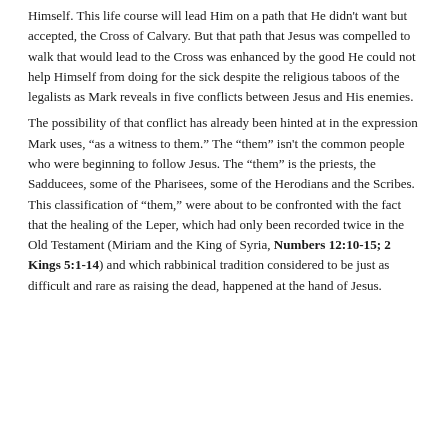Himself. This life course will lead Him on a path that He didn't want but accepted, the Cross of Calvary. But that path that Jesus was compelled to walk that would lead to the Cross was enhanced by the good He could not help Himself from doing for the sick despite the religious taboos of the legalists as Mark reveals in five conflicts between Jesus and His enemies.
The possibility of that conflict has already been hinted at in the expression Mark uses, “as a witness to them.” The “them” isn't the common people who were beginning to follow Jesus. The “them” is the priests, the Sadducees, some of the Pharisees, some of the Herodians and the Scribes. This classification of “them,” were about to be confronted with the fact that the healing of the Leper, which had only been recorded twice in the Old Testament (Miriam and the King of Syria, Numbers 12:10-15; 2 Kings 5:1-14) and which rabbinical tradition considered to be just as difficult and rare as raising the dead, happened at the hand of Jesus.